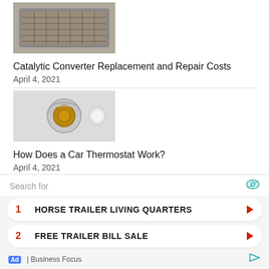[Figure (photo): Photo of a catalytic converter]
Catalytic Converter Replacement and Repair Costs
April 4, 2021
[Figure (photo): Photo of a car thermostat component]
How Does a Car Thermostat Work?
April 4, 2021
[Figure (photo): Photo of a gas pump nozzle filling a car]
Which Gas Stations Have the Best Quality Gas?
Search for
1   HORSE TRAILER LIVING QUARTERS
2   FREE TRAILER BILL SALE
Ad | Business Focus